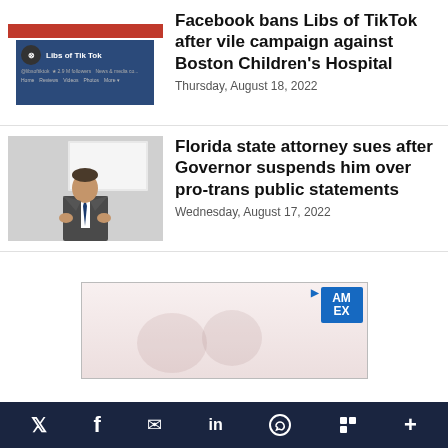[Figure (screenshot): Facebook page screenshot for Libs of Tik Tok with American flag background]
Facebook bans Libs of TikTok after vile campaign against Boston Children's Hospital
Thursday, August 18, 2022
[Figure (photo): Man in suit speaking at a podium or presentation]
Florida state attorney sues after Governor suspends him over pro-trans public statements
Wednesday, August 17, 2022
[Figure (screenshot): Advertisement banner with American Express logo]
Social media share icons: Twitter, Facebook, Email, LinkedIn, WhatsApp, Flipboard, More